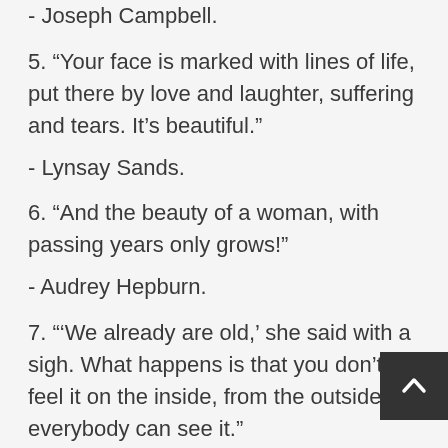- Joseph Campbell.
5. “Your face is marked with lines of life, put there by love and laughter, suffering and tears. It’s beautiful.”
- Lynsay Sands.
6. “And the beauty of a woman, with passing years only grows!”
- Audrey Hepburn.
7. “‘We already are old,’ she said with a sigh. What happens is that you don’t feel it on the inside, from the outside everybody can see it.”